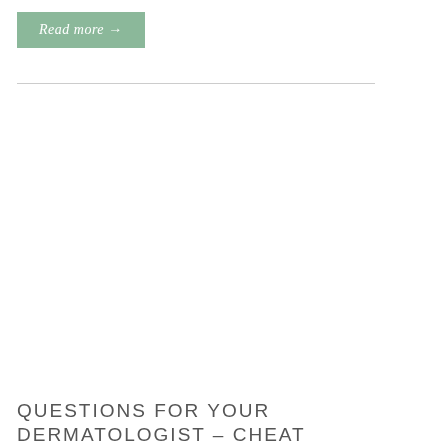Read more →
QUESTIONS FOR YOUR DERMATOLOGIST - CHEAT